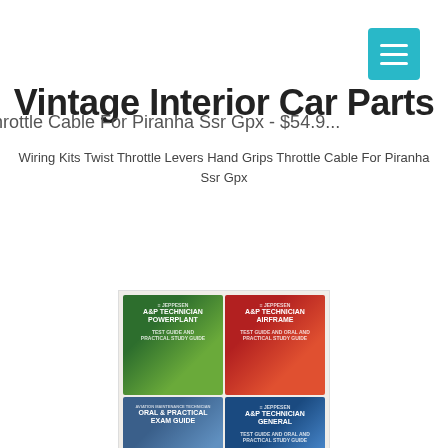[Figure (logo): Teal/cyan hamburger menu button in top right corner]
Vintage Interior Car Parts
Throttle Cable For Piranha Ssr Gpx - $54.9...
Wiring Kits Twist Throttle Levers Hand Grips Throttle Cable For Piranha Ssr Gpx
[Figure (photo): Four aviation/AMT technician study books arranged in a 2x2 grid on a wooden surface: AAR Technician Powerplant (green), AAR Technician Airframe (red), Oral & Practical Exam Guide (blue), AAR Technician General (blue), all published by Jeppesen]